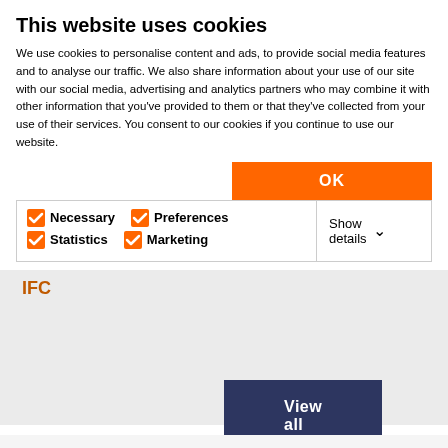This website uses cookies
We use cookies to personalise content and ads, to provide social media features and to analyse our traffic. We also share information about your use of our site with our social media, advertising and analytics partners who may combine it with other information that you've provided to them or that they've collected from your use of their services. You consent to our cookies if you continue to use our website.
OK
Necessary  Preferences  Statistics  Marketing  Show details
IFC
View all
Most liked posts
Re: How to get Master Layout name as autotext